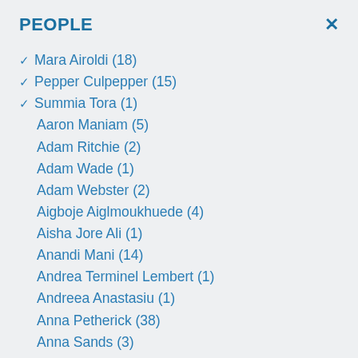PEOPLE
✓ Mara Airoldi (18)
✓ Pepper Culpepper (15)
✓ Summia Tora (1)
Aaron Maniam (5)
Adam Ritchie (2)
Adam Wade (1)
Adam Webster (2)
Aigboje Aiglmoukhuede (4)
Aisha Jore Ali (1)
Anandi Mani (14)
Andrea Terminel Lembert (1)
Andreea Anastasiu (1)
Anna Petherick (38)
Anna Sands (3)
Annette Idler (1)
Aung Hein (2)
Barbara Piotrowska (2)
Beatriz Kira (25)